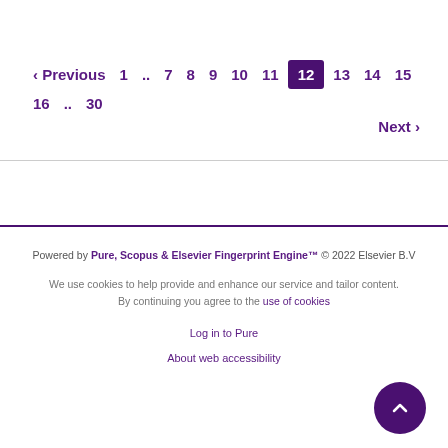‹ Previous  1 .. 7  8  9  10  11  12  13  14  15  16 .. 30  Next ›
Powered by Pure, Scopus & Elsevier Fingerprint Engine™ © 2022 Elsevier B.V
We use cookies to help provide and enhance our service and tailor content. By continuing you agree to the use of cookies
Log in to Pure
About web accessibility